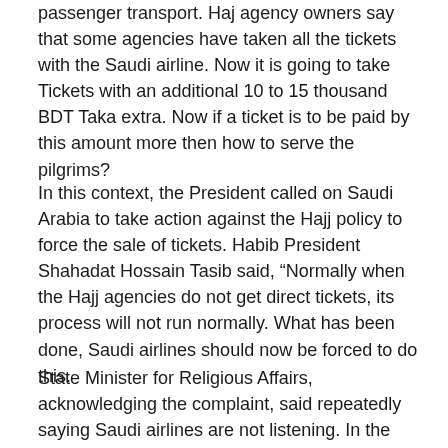passenger transport. Haj agency owners say that some agencies have taken all the tickets with the Saudi airline. Now it is going to take Tickets with an additional 10 to 15 thousand BDT Taka extra. Now if a ticket is to be paid by this amount more then how to serve the pilgrims?
In this context, the President called on Saudi Arabia to take action against the Hajj policy to force the sale of tickets. Habib President Shahadat Hossain Tasib said, “Normally when the Hajj agencies do not get direct tickets, its process will not run normally. What has been done, Saudi airlines should now be forced to do this.
State Minister for Religious Affairs, acknowledging the complaint, said repeatedly saying Saudi airlines are not listening. In the future, Hajj assured the passengers of the third carrier to stop the irregularities of tickets.